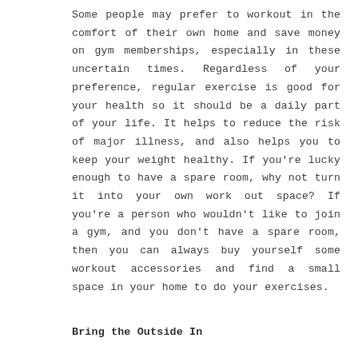Some people may prefer to workout in the comfort of their own home and save money on gym memberships, especially in these uncertain times. Regardless of your preference, regular exercise is good for your health so it should be a daily part of your life. It helps to reduce the risk of major illness, and also helps you to keep your weight healthy. If you're lucky enough to have a spare room, why not turn it into your own work out space? If you're a person who wouldn't like to join a gym, and you don't have a spare room, then you can always buy yourself some workout accessories and find a small space in your home to do your exercises.
Bring the Outside In